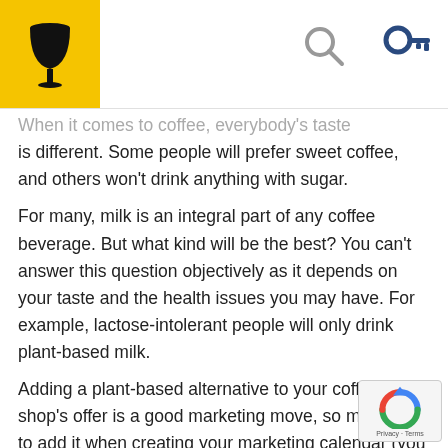[Figure (logo): Yellow square logo with wine glass / goblet icon in black]
[Figure (illustration): Gray search/magnifying glass icon in header]
[Figure (illustration): Dark blue key icon in header]
When it comes to coffee, everybody's taste is different. Some people will prefer sweet coffee, and others won't drink anything with sugar.
For many, milk is an integral part of any coffee beverage. But what kind will be the best? You can't answer this question objectively as it depends on your taste and the health issues you may have. For example, lactose-intolerant people will only drink plant-based milk.
Adding a plant-based alternative to your coffee shop's offer is a good marketing move, so make sure to add it when creating your marketing calendar (you will find more information about benefits at https://hotshotsleeves.com/benefits-of-